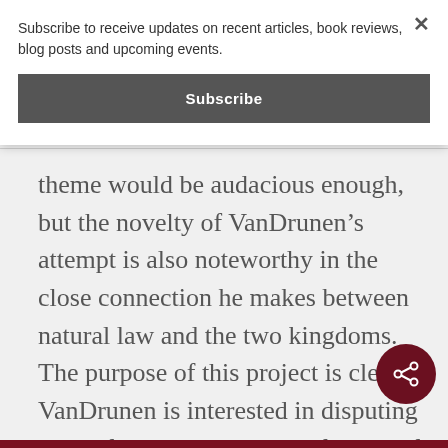Subscribe to receive updates on recent articles, book reviews, blog posts and upcoming events.
Subscribe
theme would be audacious enough, but the novelty of VanDrunen’s attempt is also noteworthy in the close connection he makes between natural law and the two kingdoms. The purpose of this project is clear; VanDrunen is interested in disputing the Reformed credentials of much of contemporary neo-Calvinism,